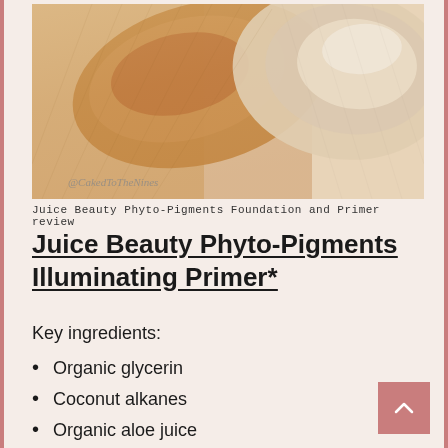[Figure (photo): Close-up swatch photo of Juice Beauty Phyto-Pigments Foundation (warm tan/golden shade) and Primer (pearlescent/light shade) swatched side by side on a textured beige background. Watermark reads '@CakedToTheNines' in bottom-left.]
Juice Beauty Phyto-Pigments Foundation and Primer review
Juice Beauty Phyto-Pigments Illuminating Primer*
Key ingredients:
Organic glycerin
Coconut alkanes
Organic aloe juice
Vitamin C & E